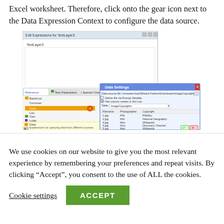Excel worksheet. Therefore, click onto the gear icon next to the Data Expression Context to configure the data source.
[Figure (screenshot): Screenshot showing Edit Expressions for TextLayer3 dialog with a Data Settings panel open, displaying a table with columns Filename, Photographer, Copyright and rows for 1.jpg through 5.jpg with photographers Phil, Will, Max, Amy, Max and copyrights PhilAbo, National Geography, Wikipedia, Discovery Channel, Wikipedia.]
We use cookies on our website to give you the most relevant experience by remembering your preferences and repeat visits. By clicking “Accept”, you consent to the use of ALL the cookies.
Cookie settings   ACCEPT